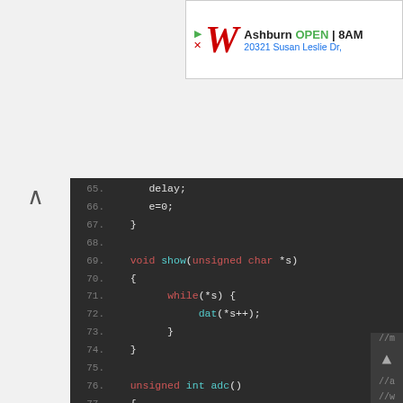[Figure (screenshot): Walgreens advertisement banner showing logo, 'OPEN 8AM', and address '20321 Susan Leslie Dr']
Code editor screenshot showing C code lines 65-83 including void show(unsigned char *s) function and unsigned int adc() function with ADC register settings
65.       delay;
66.       e=0;
67.    }
68.
69.    void show(unsigned char *s)
70.    {
71.          while(*s) {
72.               dat(*s++);
73.          }
74.    }
75.
76.    unsigned int adc()
77.    {
78.          unsigned int adcval;
79.
80.          ADCON1=0xc0;
81.          ADCON0=0x85;
82.          while(GO_nDONE);
83.          adcval=((ADRESH<<8)|(ADRESL));